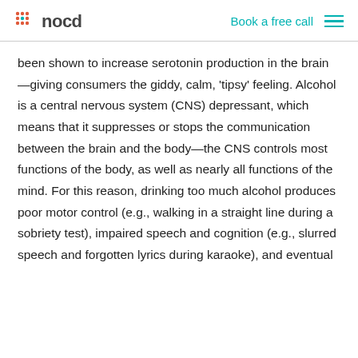nocd | Book a free call
been shown to increase serotonin production in the brain—giving consumers the giddy, calm, 'tipsy' feeling. Alcohol is a central nervous system (CNS) depressant, which means that it suppresses or stops the communication between the brain and the body—the CNS controls most functions of the body, as well as nearly all functions of the mind. For this reason, drinking too much alcohol produces poor motor control (e.g., walking in a straight line during a sobriety test), impaired speech and cognition (e.g., slurred speech and forgotten lyrics during karaoke), and eventual